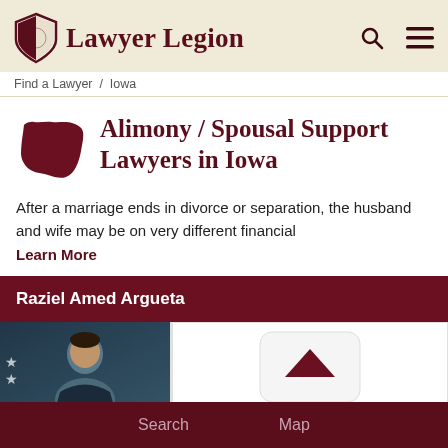Lawyer Legion
Find a Lawyer / Iowa
Alimony / Spousal Support Lawyers in Iowa
After a marriage ends in divorce or separation, the husband and wife may be on very different financial Learn More
Raziel Amed Argueta
[Figure (photo): Photo of lawyer Raziel Amed Argueta]
[Figure (other): Rating/score box with upward arrow icon]
Search   Map